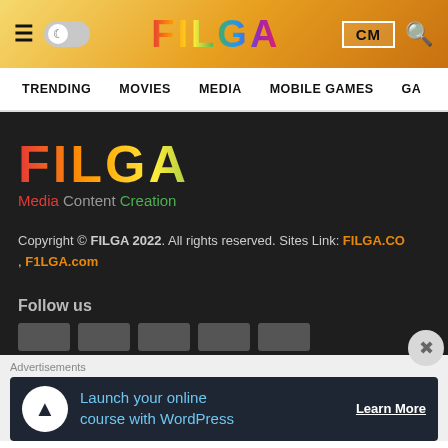FILGA | header navigation bar
TRENDING   MOVIES   MEDIA   MOBILE GAMES   GA
[Figure (logo): FILGA rainbow-colored logo with tagline 'Media Content Creation' on dark background]
Copyright © FILGA 2022. All rights reserved. Sites Link: FILGA.CO , F1LGA.com
Follow us
Advertisements
Launch your online course with WordPress   Learn More